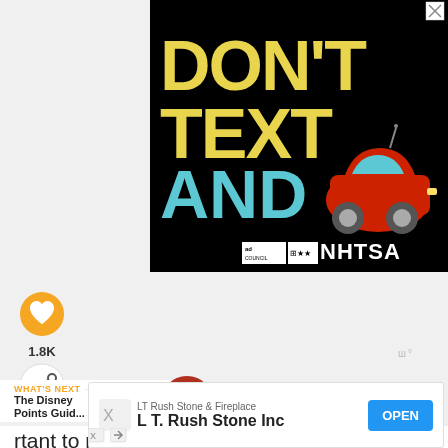[Figure (infographic): NHTSA 'Don't Text and Drive' ad banner on black background with yellow 'DON'T TEXT' and cyan 'AND' text, car emoji, Ad Council and NHTSA logos]
1.8K
rtant to note, they're nonrefundable and non-changeable.
[Figure (infographic): Bottom advertisement: LT Rush Stone & Fireplace - L T. Rush Stone Inc - OPEN button]